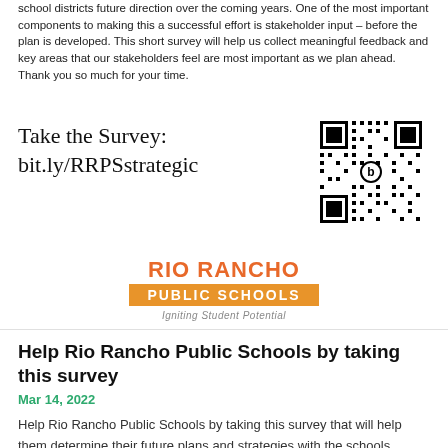school districts future direction over the coming years. One of the most important components to making this a successful effort is stakeholder input – before the plan is developed. This short survey will help us collect meaningful feedback and key areas that our stakeholders feel are most important as we plan ahead. Thank you so much for your time.
Take the Survey:
bit.ly/RRPSstrategic
[Figure (other): QR code for the Rio Rancho Public Schools strategic survey link]
[Figure (logo): Rio Rancho Public Schools logo with orange text 'RIO RANCHO', orange rectangle with white text 'PUBLIC SCHOOLS', and tagline 'Igniting Student Potential']
Help Rio Rancho Public Schools by taking this survey
Mar 14, 2022
Help Rio Rancho Public Schools by taking this survey that will help them determine their future plans and strategies with the schools. Survey link: https://bit.ly/3I5XLUN #riorancho